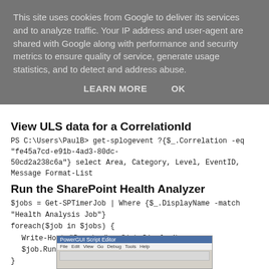This site uses cookies from Google to deliver its services and to analyze traffic. Your IP address and user-agent are shared with Google along with performance and security metrics to ensure quality of service, generate usage statistics, and to detect and address abuse.
LEARN MORE   OK
View ULS data for a CorrelationId
PS C:\Users\PaulB> get-splogevent ?{$_.Correlation -eq "fe45a7cd-e91b-4ad3-80dc-50cd2a238c6a"} select Area, Category, Level, EventID, Message Format-List
Run the SharePoint Health Analyzer
$jobs = Get-SPTimerJob | Where {$_.DisplayName -match "Health Analysis Job"}
foreach($job in $jobs) {
  Write-Host "Running" . $job.DisplayName
  $job.RunNow()
}
Read an XML file:
[Figure (screenshot): PowerGUI Script Editor window screenshot showing menu bar with File, Edit, View, Go, Debug, Tools, Help menus and toolbar icons below]